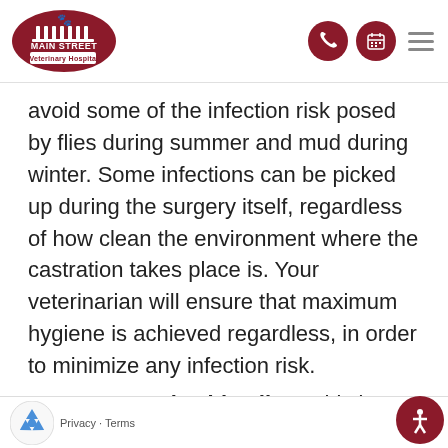Main Street Veterinary Hospital — navigation header
avoid some of the infection risk posed by flies during summer and mud during winter. Some infections can be picked up during the surgery itself, regardless of how clean the environment where the castration takes place is. Your veterinarian will ensure that maximum hygiene is achieved regardless, in order to minimize any infection risk.
Post-operative bleeding: This is more common in open castrations but can occur in either case. A little blood is